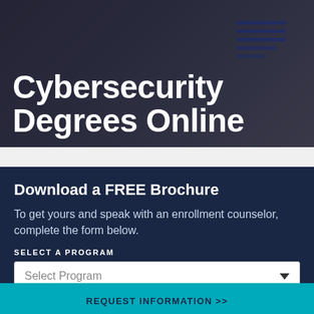Cybersecurity Degrees Online
Download a FREE Brochure
To get yours and speak with an enrollment counselor, complete the form below.
SELECT A PROGRAM
Select Program
HIGHEST LEVEL OF EDUCATION
REQUEST INFORMATION >>